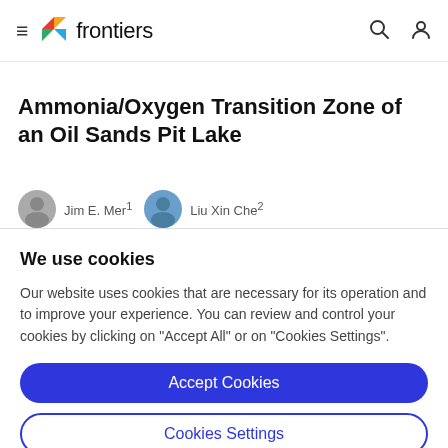frontiers
Ammonia/Oxygen Transition Zone of an Oil Sands Pit Lake
We use cookies
Our website uses cookies that are necessary for its operation and to improve your experience. You can review and control your cookies by clicking on "Accept All" or on "Cookies Settings".
Accept Cookies
Cookies Settings